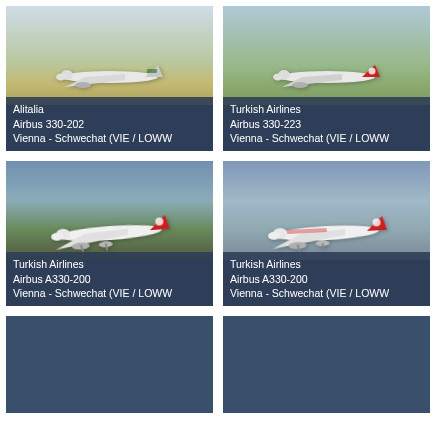[Figure (photo): Alitalia Airbus 330-202 at Vienna - Schwechat airport, aircraft on runway with terminal in background]
Alitalia
Airbus 330-202
Vienna - Schwechat (VIE / LOWW
[Figure (photo): Turkish Airlines Airbus 330-223 at Vienna - Schwechat airport, aircraft on tarmac]
Turkish Airlines
Airbus 330-223
Vienna - Schwechat (VIE / LOWW
[Figure (photo): Turkish Airlines Airbus A330-200 on approach landing at Vienna - Schwechat airport]
Turkish Airlines
Airbus A330-200
Vienna - Schwechat (VIE / LOWW
[Figure (photo): Turkish Airlines (Turkish Cargo) Airbus A330-200 on approach at Vienna - Schwechat airport]
Turkish Airlines
Airbus A330-200
Vienna - Schwechat (VIE / LOWW
[Figure (photo): Photo card with dark blue background, no visible aircraft]
[Figure (photo): Photo card with dark blue background, no visible aircraft]